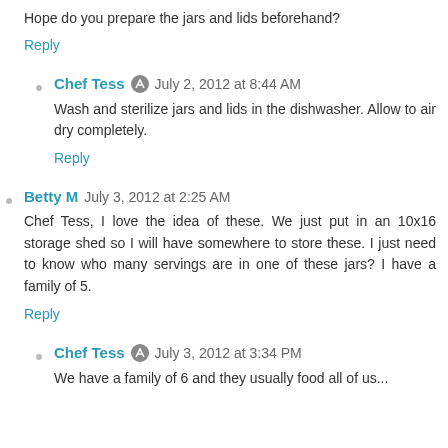Hope do you prepare the jars and lids beforehand?
Reply
Chef Tess • July 2, 2012 at 8:44 AM
Wash and sterilize jars and lids in the dishwasher. Allow to air dry completely.
Reply
Betty M  July 3, 2012 at 2:25 AM
Chef Tess, I love the idea of these. We just put in an 10x16 storage shed so I will have somewhere to store these. I just need to know who many servings are in one of these jars? I have a family of 5.
Reply
Chef Tess • July 3, 2012 at 3:34 PM
We have a family of 6 and they usually food all of us...